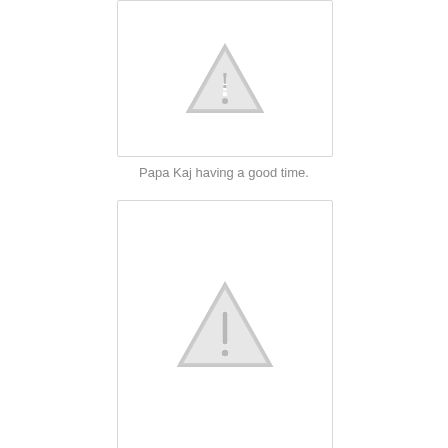[Figure (photo): Image placeholder with warning/missing image icon (grey triangle with exclamation mark) - top image]
Papa Kaj having a good time.
[Figure (photo): Image placeholder with warning/missing image icon (grey triangle with exclamation mark) - bottom image]